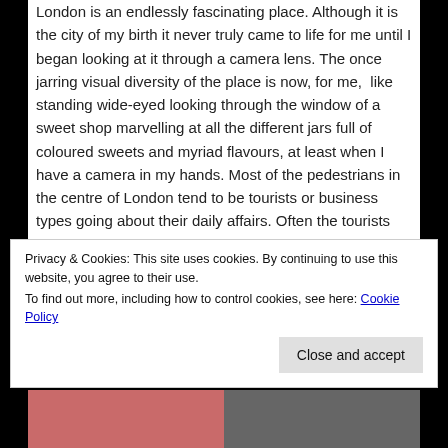London is an endlessly fascinating place. Although it is the city of my birth it never truly came to life for me until I began looking at it through a camera lens. The once jarring visual diversity of the place is now, for me,  like standing wide-eyed looking through the window of a sweet shop marvelling at all the different jars full of coloured sweets and myriad flavours, at least when I have a camera in my hands. Most of the pedestrians in the centre of London tend to be tourists or business types going about their daily affairs. Often the tourists have a real flair for fashion, whether tasteful or not, but in terms of photography they add an element of excitement to the street that Bill and I have found in few other places we have visited together, and separately. New York is very much on par with the
Privacy & Cookies: This site uses cookies. By continuing to use this website, you agree to their use.
To find out more, including how to control cookies, see here: Cookie Policy
[Figure (photo): Photo strip at the bottom of the page showing two partial images side by side, one with pink/red tones on the left and a dark-toned image on the right.]